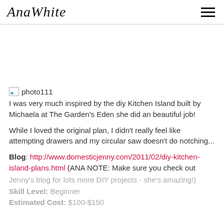AnaWhite
[Figure (other): Broken image placeholder labeled photo111]
I was very much inspired by the diy Kitchen Island built by Michaela at The Garden's Eden she did an beautiful job!
While I loved the original plan, I didn't really feel like attempting drawers and my circular saw doesn't do notching...
Blog: http://www.domesticjenny.com/2011/02/diy-kitchen-island-plans.html (ANA NOTE: Make sure you check out Jenny's blog for lots more DIY projects - she's amazing!)
Skill Level: Beginner
Estimated Cost: $100-$150